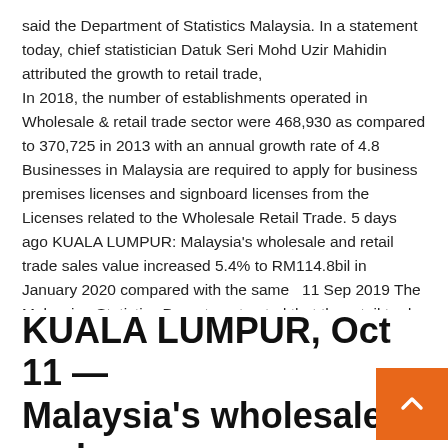said the Department of Statistics Malaysia. In a statement today, chief statistician Datuk Seri Mohd Uzir Mahidin attributed the growth to retail trade, In 2018, the number of establishments operated in Wholesale & retail trade sector were 468,930 as compared to 370,725 in 2013 with an annual growth rate of 4.8 Businesses in Malaysia are required to apply for business premises licenses and signboard licenses from the Licenses related to the Wholesale Retail Trade. 5 days ago KUALA LUMPUR: Malaysia's wholesale and retail trade sales value increased 5.4% to RM114.8bil in January 2020 compared with the same  11 Sep 2019 The Malaysian Statistics Department noted that the retail trade sub-sector was the main driver, recording a 7.1% increase, followed by wholesale
KUALA LUMPUR, Oct 11 — Malaysia's wholesale and retail trade value